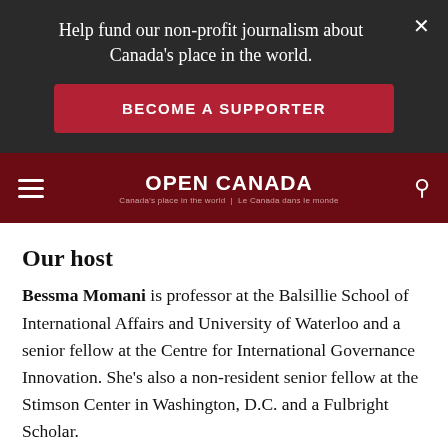Help fund our non-profit journalism about Canada's place in the world.
BECOME A SUPPORTER
[Figure (logo): Open Canada logo with tagline: Canada's place in the world / Le Canada dans le monde]
Our host
Bessma Momani is professor at the Balsillie School of International Affairs and University of Waterloo and a senior fellow at the Centre for International Governance Innovation. She's also a non-resident senior fellow at the Stimson Center in Washington, D.C. and a Fulbright Scholar.